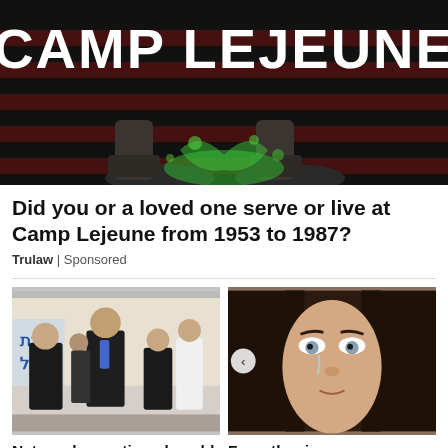[Figure (photo): Camp Lejeune advertisement banner: dark background with American flag stripes motif in red and dark tones, military boots at bottom center with green toxic splash effect, large white bold text 'CAMP LEJEUNE' at top]
Did you or a loved one serve or live at Camp Lejeune from 1953 to 1987?
Trulaw | Sponsored
[Figure (photo): News photo of Benjamin Netanyahu in a dark suit with blue tie, standing among other people in suits and a person in white, in an indoor setting with Hebrew text visible on a banner in the background]
[Figure (photo): News photo of a young woman with long dark hair and light eyes, appearing to cry or emotional, close-up portrait]
Netanyahu cautioned could be held
From the rive